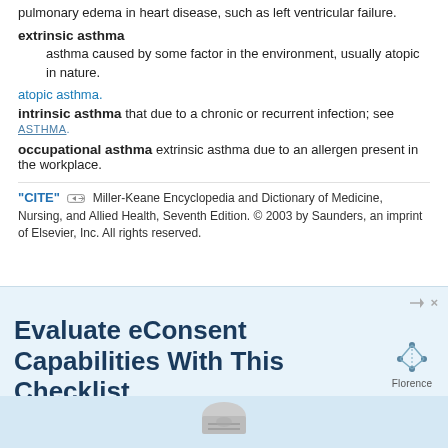pulmonary edema in heart disease, such as left ventricular failure.
extrinsic asthma — asthma caused by some factor in the environment, usually atopic in nature.
atopic asthma.
intrinsic asthma that due to a chronic or recurrent infection; see ASTHMA.
occupational asthma extrinsic asthma due to an allergen present in the workplace.
"CITE" [link icon] Miller-Keane Encyclopedia and Dictionary of Medicine, Nursing, and Allied Health, Seventh Edition. © 2003 by Saunders, an imprint of Elsevier, Inc. All rights reserved.
[Figure (infographic): Advertisement banner for Florence eConsent evaluation checklist. Dark blue bold text reads 'Evaluate eConsent Capabilities With This Checklist' with a Florence logo (molecule icon) on the right and a partially visible checklist form at the bottom.]